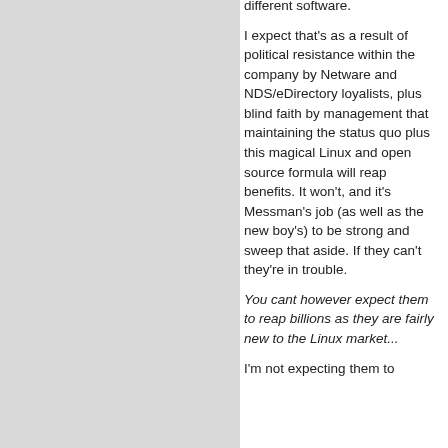different software.
I expect that's as a result of political resistance within the company by Netware and NDS/eDirectory loyalists, plus blind faith by management that maintaining the status quo plus this magical Linux and open source formula will reap benefits. It won't, and it's Messman's job (as well as the new boy's) to be strong and sweep that aside. If they can't they're in trouble.
You cant however expect them to reap billions as they are fairly new to the Linux market...
I'm not expecting them to